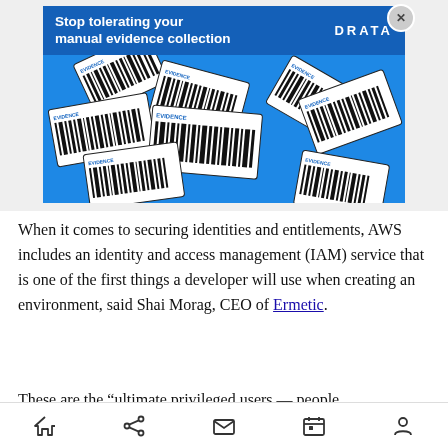[Figure (screenshot): Advertisement banner for Drata showing 'Stop tolerating your manual evidence collection' with DRATA logo and a blue background filled with scattered black-and-white barcode/evidence tag images]
When it comes to securing identities and entitlements, AWS includes an identity and access management (IAM) service that is one of the first things a developer will use when creating an environment, said Shai Morag, CEO of Ermetic.
These are the “ultimate privileged users — people